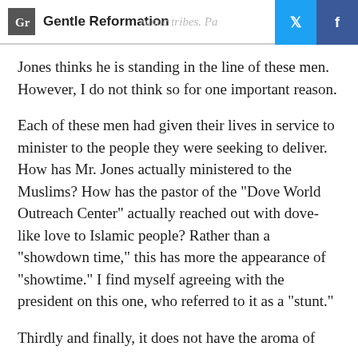Gentle Reformation
Jones thinks he is standing in the line of these men. However, I do not think so for one important reason.
Each of these men had given their lives in service to minister to the people they were seeking to deliver. How has Mr. Jones actually ministered to the Muslims? How has the pastor of the "Dove World Outreach Center" actually reached out with dove-like love to Islamic people? Rather than a "showdown time," this has more the appearance of "showtime." I find myself agreeing with the president on this one, who referred to it as a "stunt."
Thirdly and finally, it does not have the aroma of